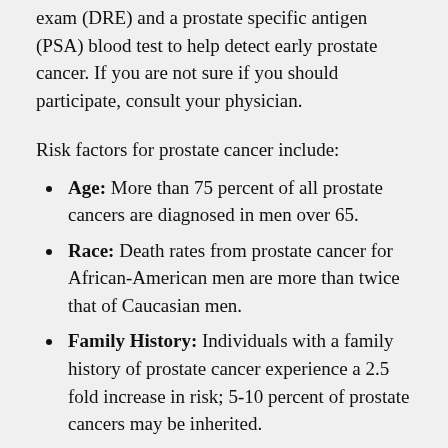exam (DRE) and a prostate specific antigen (PSA) blood test to help detect early prostate cancer. If you are not sure if you should participate, consult your physician.
Risk factors for prostate cancer include:
Age: More than 75 percent of all prostate cancers are diagnosed in men over 65.
Race: Death rates from prostate cancer for African-American men are more than twice that of Caucasian men.
Family History: Individuals with a family history of prostate cancer experience a 2.5 fold increase in risk; 5-10 percent of prostate cancers may be inherited.
Nutrition: There is a significant evidence